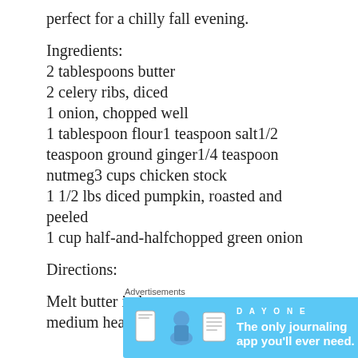perfect for a chilly fall evening.
Ingredients:
2 tablespoons butter
2 celery ribs, diced
1 onion, chopped well
1 tablespoon flour1 teaspoon salt1/2 teaspoon ground ginger1/4 teaspoon nutmeg3 cups chicken stock
1 1/2 lbs diced pumpkin, roasted and peeled
1 cup half-and-halfchopped green onion
Directions:
Melt butter in large saucepan over medium heat.
[Figure (screenshot): Advertisement banner for DayOne journaling app with light blue background, app icons, and text 'The only journaling app you'll ever need.']